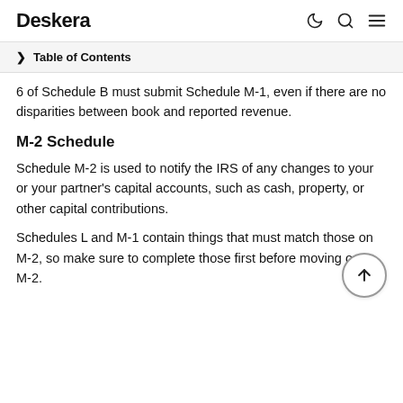Deskera
Table of Contents
6 of Schedule B must submit Schedule M-1, even if there are no disparities between book and reported revenue.
M-2 Schedule
Schedule M-2 is used to notify the IRS of any changes to your or your partner's capital accounts, such as cash, property, or other capital contributions.
Schedules L and M-1 contain things that must match those on M-2, so make sure to complete those first before moving on to M-2.